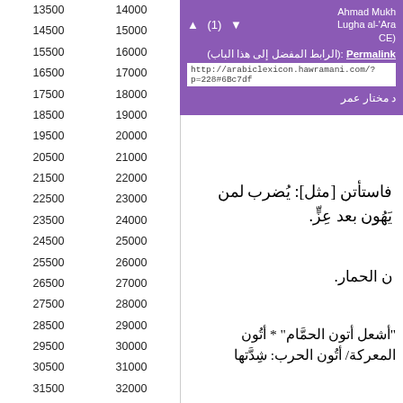| Col1 | Col2 |
| --- | --- |
| 13500 | 14000 |
| 14500 | 15000 |
| 15500 | 16000 |
| 16500 | 17000 |
| 17500 | 18000 |
| 18500 | 19000 |
| 19500 | 20000 |
| 20500 | 21000 |
| 21500 | 22000 |
| 22500 | 23000 |
| 23500 | 24000 |
| 24500 | 25000 |
| 25500 | 26000 |
| 26500 | 27000 |
| 27500 | 28000 |
| 28500 | 29000 |
| 29500 | 30000 |
| 30500 | 31000 |
| 31500 | 32000 |
| 32500 | 33000 |
▲ (1) ▼
Permalink (الرابط المفضل إلى هذا الباب):
http://arabiclexicon.hawramani.com/?p=228#6Bc7df
Ahmad Mukh... Lugha al-'Ara... CE)
د مختار عمر
فاستأتن [مثل]: يُضرب لمن يَهُون بعد عِزٍّ.
ن الحمار.
"أشعل أتون الحمَّام" * أتُون المعركة/ أتُون الحرب: شِدَّتها